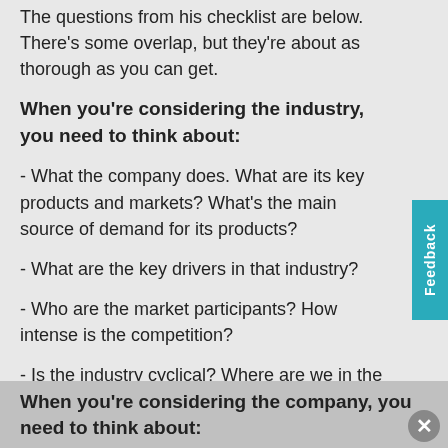The questions from his checklist are below. There's some overlap, but they're about as thorough as you can get.
When you're considering the industry, you need to think about:
- What the company does. What are its key products and markets? What's the main source of demand for its products?
- What are the key drivers in that industry?
- Who are the market participants? How intense is the competition?
- Is the industry cyclical? Where are we in the cycle?
- Which outside factors might influence the industry (eg. government, climate, terrorism)?
When you're considering the company, you need to think about: